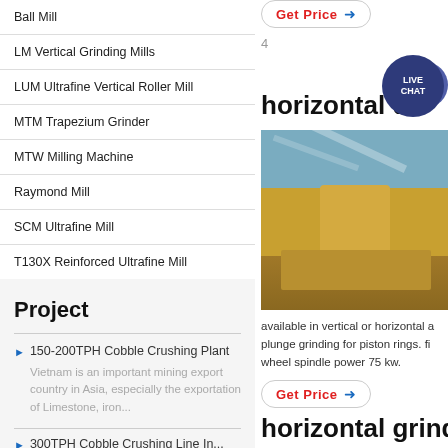Ball Mill
LM Vertical Grinding Mills
LUM Ultrafine Vertical Roller Mill
MTM Trapezium Grinder
MTW Milling Machine
Raymond Mill
SCM Ultrafine Mill
T130X Reinforced Ultrafine Mill
Project
150-200TPH Cobble Crushing Plant
Vietnam is an important mining export country in Asia, especially the exportation of Limestone, iron...
300TPH Cobble Crushing Line In...
Get Price
4
horizontal d
[Figure (photo): Yellow industrial horizontal crushing/screening machinery on a construction site with conveyor belts]
available in vertical or horizontal a plunge grinding for piston rings. fi wheel spindle power 75 kw.
Get Price
horizontal grinder